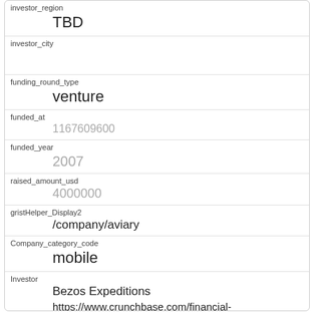| field | value |
| --- | --- |
| investor_region | TBD |
| investor_city |  |
| funding_round_type | venture |
| funded_at | 1167609600 |
| funded_year | 2007 |
| raised_amount_usd | 4000000 |
| gristHelper_Display2 | /company/aviary |
| Company_category_code | mobile |
| Investor | Bezos Expeditions
https://www.crunchbase.com/financial-organization/bezos-expeditions |